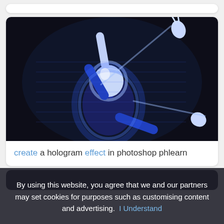[Figure (photo): A dancer or performer in a dark blue outfit against a dark background, rendered with a glowing hologram blue-white light effect. One arm raised above the head, the other extended to the side.]
create a hologram effect in photoshop phlearn
By using this website, you agree that we and our partners may set cookies for purposes such as customising content and advertising.  I Understand